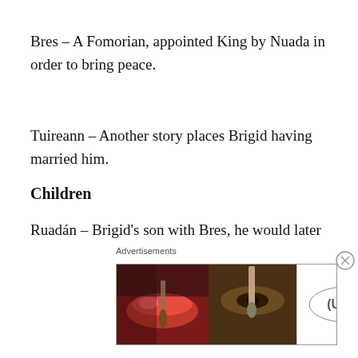Bres – A Fomorian, appointed King by Nuada in order to bring peace.
Tuireann – Another story places Brigid having married him.
Children
Ruadán – Brigid's son with Bres, he would later be killed by Goibniu.
Brian, Iuchar, and Irchaba – Brigid's sons with Tuireann. These three sons slew Cian, the father of Lugh of the Long-Arm while transformed into a pig.
Tuatha Dé Danann
[Figure (other): Advertisement banner for ULTA beauty products with text 'SHOP NOW']